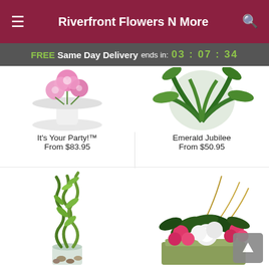Riverfront Flowers N More
FREE Same Day Delivery ends in: 03 : 07 : 34
[Figure (photo): It's Your Party!™ floral arrangement on white pedestal stand with pink orchids]
It's Your Party!™
From $83.95
[Figure (photo): Emerald Jubilee green plant arrangement with tropical foliage]
Emerald Jubilee
From $50.95
[Figure (photo): Lucky bamboo plant in glass vase with stones]
[Figure (photo): Mixed flower arrangement with pink cyclamen, white azalea in green planter with curly willow]